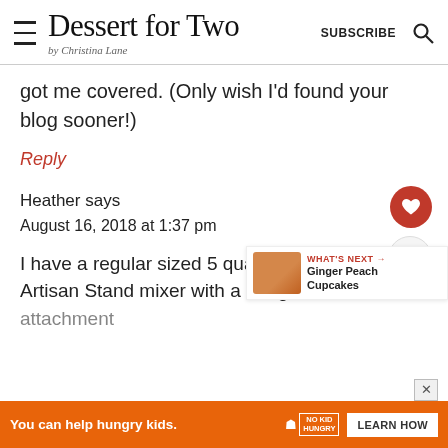Dessert for Two by Christina Lane — SUBSCRIBE
got me covered. (Only wish I'd found your blog sooner!)
Reply
Heather says
August 16, 2018 at 1:37 pm
I have a regular sized 5 quart KitchenAid Artisan Stand mixer with a dough hook attachment
You can help hungry kids. NO KID HUNGRY LEARN HOW